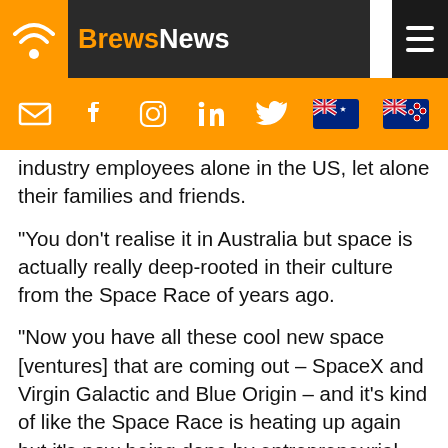BrewsNews
industry employees alone in the US, let alone their families and friends.
“You don’t realise it in Australia but space is actually really deep-rooted in their culture from the Space Race of years ago.
“Now you have all these cool new space [ventures] that are coming out – SpaceX and Virgin Galactic and Blue Origin – and it’s kind of like the Space Race is heating up again but it’s now being done by entrepreneurial people from all sorts of industries.
“It’s not just a government-led thing anymore, so it’s got this really cool energy around it. So I guess that’s